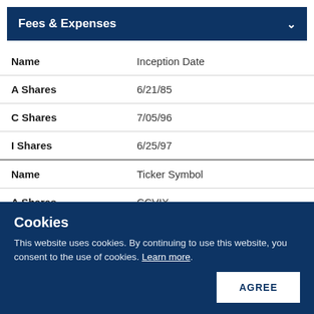Fees & Expenses
| Name | Inception Date |
| --- | --- |
| A Shares | 6/21/85 |
| C Shares | 7/05/96 |
| I Shares | 6/25/97 |
| Name | Ticker Symbol |
| --- | --- |
| A Shares | CCVIX |
| C Shares | CCVCX |
Cookies
This website uses cookies. By continuing to use this website, you consent to the use of cookies. Learn more.